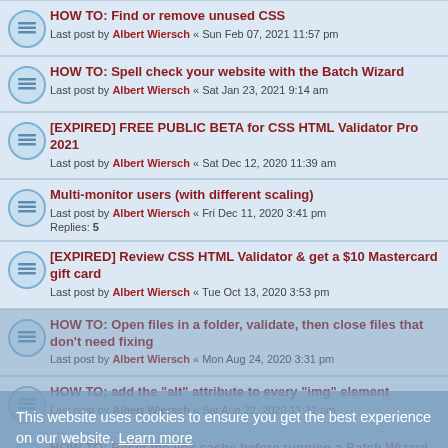HOW TO: Find or remove unused CSS
Last post by Albert Wiersch « Sun Feb 07, 2021 11:57 pm
HOW TO: Spell check your website with the Batch Wizard
Last post by Albert Wiersch « Sat Jan 23, 2021 9:14 am
[EXPIRED] FREE PUBLIC BETA for CSS HTML Validator Pro 2021
Last post by Albert Wiersch « Sat Dec 12, 2020 11:39 am
Multi-monitor users (with different scaling)
Last post by Albert Wiersch « Fri Dec 11, 2020 3:41 pm
Replies: 5
[EXPIRED] Review CSS HTML Validator & get a $10 Mastercard gift card
Last post by Albert Wiersch « Tue Oct 13, 2020 3:53 pm
HOW TO: Open files in a folder, validate, then close files that don't need fixing
Last post by Albert Wiersch « Mon Aug 24, 2020 3:31 pm
HOW TO: add the "alt" attribute to every "img" element
Last post by Albert Wiersch « Sat Aug 22, 2020 11:31 pm
HOW TO: Reset the link cache before running a Batch Wizard job
Last post by Albert Wiersch « Fri Jun 05, 2020 8:04 pm
Forum updated to phpBB 3.1!
Last post by Albert Wiersch « Thu Feb 13, 2020 6:38 pm
This website uses cookies to ensure you get the best experience on our website. Learn more
Got it!